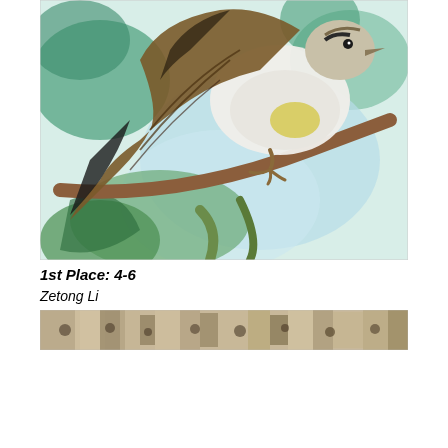[Figure (illustration): Watercolor painting of a bird (appears to be a sparrow or finch) perched on a branch, with green, blue and white background foliage. The bird's wings are brown and black, with a white breast and yellow accents. Close-up perspective showing primarily the body, wings, and feet gripping the branch.]
1st Place: 4-6
Zetong Li
[Figure (photo): Partial view of a second artwork or photograph at the bottom of the page, showing what appears to be a textured landscape or group of birds in a natural setting, rendered in earthy tones.]